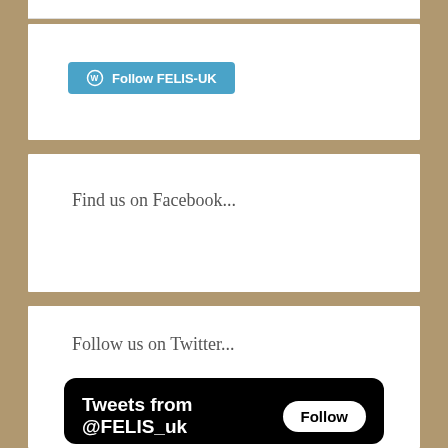[Figure (screenshot): WordPress Follow FELIS-UK button in cyan/blue color]
Find us on Facebook...
Follow us on Twitter...
[Figure (screenshot): Twitter widget showing Tweets from @FELIS_uk with Follow button and a retweeted post from Wild Beij... @Bir... May 31, 2020 about findings from the first ever active den of the Chinese Mountain Cat (Felis bieti).]